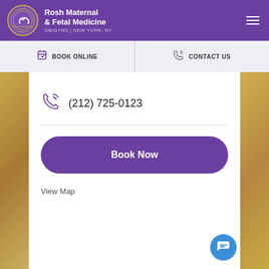Rosh Maternal & Fetal Medicine OB/GYNS | NEW YORK, NY
BOOK ONLINE
CONTACT US
(212) 725-0123
Book Now
View Map